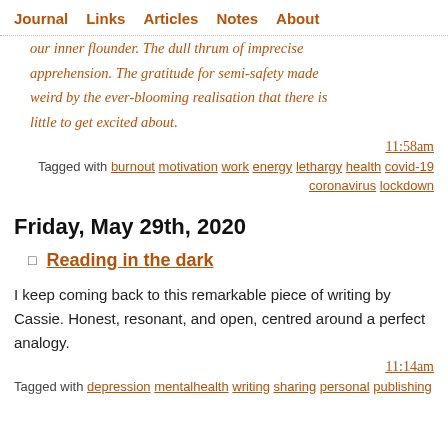Journal  Links  Articles  Notes  About
our inner flounder. The dull thrum of imprecise apprehension. The gratitude for semi-safety made weird by the ever-blooming realisation that there is little to get excited about.
11:58am
Tagged with burnout motivation work energy lethargy health covid-19 coronavirus lockdown
Friday, May 29th, 2020
Reading in the dark
I keep coming back to this remarkable piece of writing by Cassie. Honest, resonant, and open, centred around a perfect analogy.
11:14am
Tagged with depression mentalhealth writing sharing personal publishing